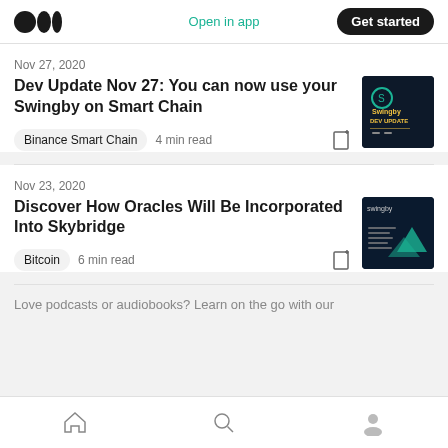Medium logo | Open in app | Get started
Nov 27, 2020
Dev Update Nov 27: You can now use your Swingby on Smart Chain
Binance Smart Chain   4 min read
[Figure (photo): Swingby Dev Update thumbnail image with dark background and yellow/orange text]
Nov 23, 2020
Discover How Oracles Will Be Incorporated Into Skybridge
Bitcoin   6 min read
[Figure (photo): Swingby Skybridge Oracles article thumbnail with dark blue/teal background]
Love podcasts or audiobooks? Learn on the go with our
Home | Search | Profile